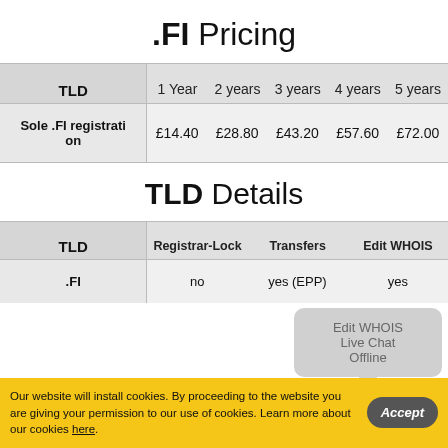.FI Pricing
| TLD | 1 Year | 2 years | 3 years | 4 years | 5 years |
| --- | --- | --- | --- | --- | --- |
| Sole .FI registration | £14.40 | £28.80 | £43.20 | £57.60 | £72.00 |
TLD Details
| TLD | Registrar-Lock | Transfers | Edit WHOIS | D... |
| --- | --- | --- | --- | --- |
| .FI | no | yes (EPP) | yes | ... |
Our website will install cookies. By proceeding to the website you are giving your permission to our use of cookies. Learn more about our cookies here.